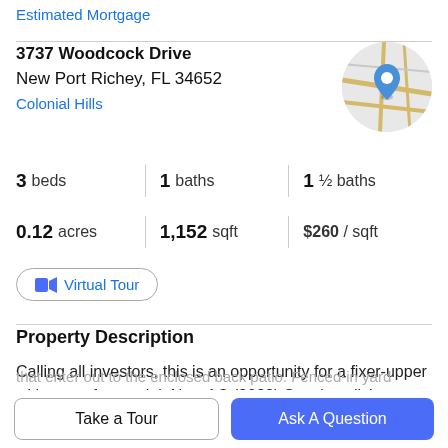Estimated Mortgage
3737 Woodcock Drive
New Port Richey, FL 34652
Colonial Hills
[Figure (map): Circular map thumbnail showing a street map with a blue location pin marker]
3 beds | 1 baths | 1 ½ baths
0.12 acres | 1,152 sqft | $260 / sqft
Virtual Tour
Property Description
Calling all investors, this is an opportunity for a fixer-upper with tons of potential. New AC (2022) Spacious living room
that enter out to the enclosed back patio. Fenced-in yard
Take a Tour
Ask A Question